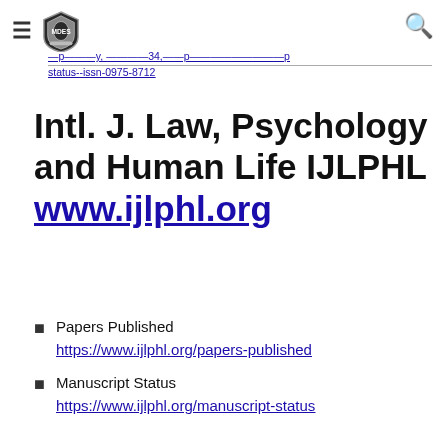≡ [logo] [search]
...p...y, ...34,... p... status--issn-0975-8712
Intl. J. Law, Psychology and Human Life IJLPHL www.ijlphl.org
Papers Published https://www.ijlphl.org/papers-published
Manuscript Status https://www.ijlphl.org/manuscript-status